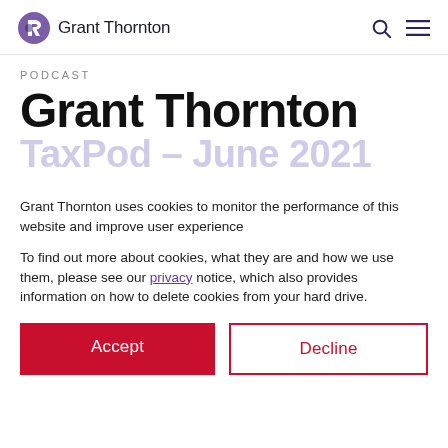Grant Thornton
PODCAST
Grant Thornton
TaxPod – June 2021
Grant Thornton uses cookies to monitor the performance of this website and improve user experience
To find out more about cookies, what they are and how we use them, please see our privacy notice, which also provides information on how to delete cookies from your hard drive.
Accept
Decline